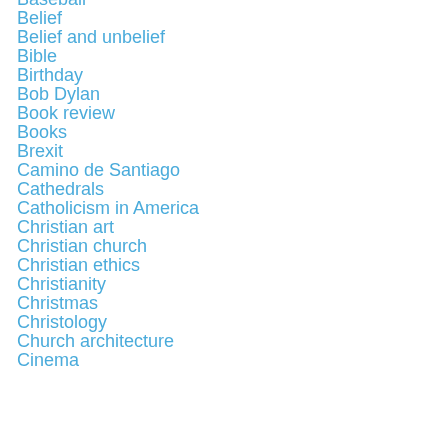Baseball
Belief
Belief and unbelief
Bible
Birthday
Bob Dylan
Book review
Books
Brexit
Camino de Santiago
Cathedrals
Catholicism in America
Christian art
Christian church
Christian ethics
Christianity
Christmas
Christology
Church architecture
Cinema